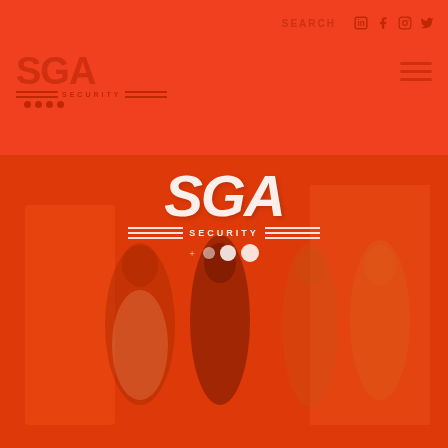SEARCH
[Figure (logo): SGA Security logo top-left with red stylized letters and decorative lines and dots]
[Figure (logo): SGA Security large white logo centered in hero area over orange-red toned photo of security personnel]